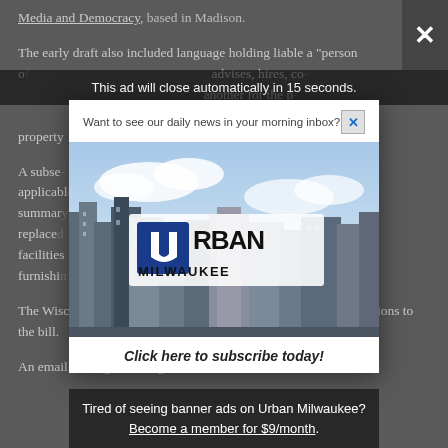Media and Democracy, based in Madison.
The early draft also included language holding liable a "person of" who advises, hires, co- another for the p- property later dropped
A subse- applicable, summa- amplified, replace- to facilities- furnishi- n backing
The Wisconsin bill's earliest drafts included no reference to exceptions to the bill.
An email message to a Legislative Reference Bureau drafter
[Figure (screenshot): Ad overlay with 'This ad will close automatically in 15 seconds.' timer bar and X close button in top right corner, containing Urban Milwaukee subscription modal with city skyline image, logo, 'Click here to subscribe today!' button, and 'Tired of seeing banner ads on Urban Milwaukee? Become a member for $9/month.' offer at bottom.]